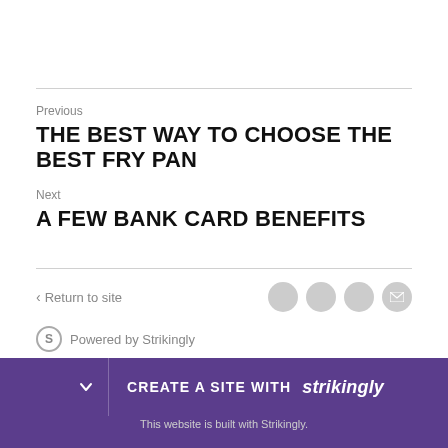Previous
THE BEST WAY TO CHOOSE THE BEST FRY PAN
Next
A FEW BANK CARD BENEFITS
< Return to site
Powered by Strikingly
CREATE A SITE WITH strikingly